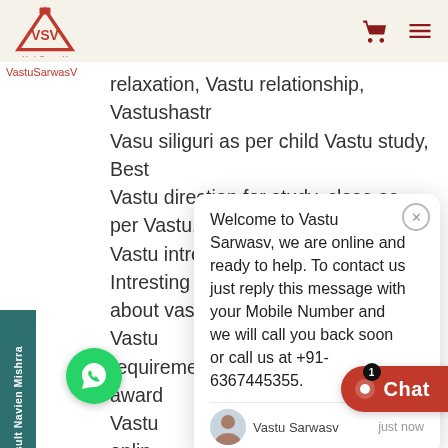VastuSarwasV logo with shopping cart and menu icons
relaxation, Vastu relationship, Vastushastr Vasu siliguri as per child Vastu study, Best Vastu direction for study, close as per Vastu, Vastu intrest, Vaastu interest, Intresting facts about vastu, Vastu compliance , Vastu requirements, Vaastu results, Vastu award Vastu online power elements vastu Vastu element, Earth element space element what ment, Vastu project, Vastu projects astu, Vaastu for jaipur, Vaastu in Vaastu in rajasthan , Vaastu courses, Vaastu
Welcome to Vastu Sarwasv, we are online and ready to help. To contact us just reply this message with your Mobile Number and we will call you back soon or call us at +91-6367445355.
Vastu Sarwasv — just now
Consult Navien Mishrra